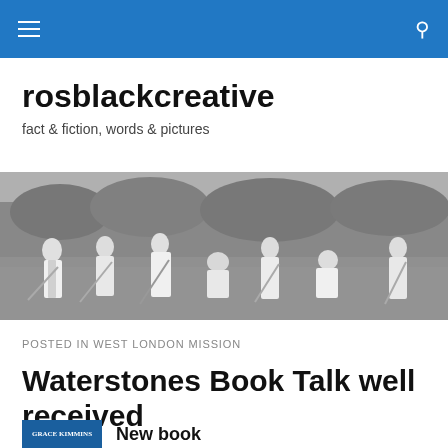rosblackcreative — navigation bar
rosblackcreative
fact & fiction, words & pictures
[Figure (photo): Black and white historical photograph of women in Victorian-era dress working in a field with rakes and tools, trees in background]
POSTED IN WEST LONDON MISSION
Waterstones Book Talk well received
[Figure (photo): Book cover with blue background reading GRACE KIMMINS]
New book